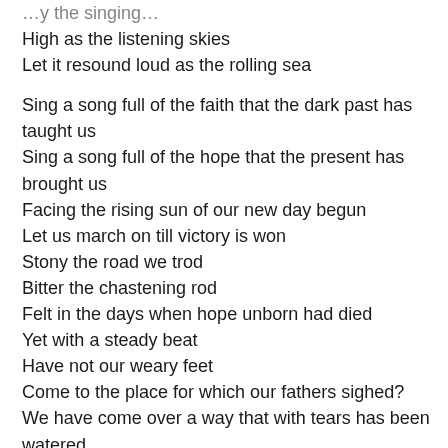High as the listening skies
Let it resound loud as the rolling sea

Sing a song full of the faith that the dark past has taught us
Sing a song full of the hope that the present has brought us
Facing the rising sun of our new day begun
Let us march on till victory is won
Stony the road we trod
Bitter the chastening rod
Felt in the days when hope unborn had died
Yet with a steady beat
Have not our weary feet
Come to the place for which our fathers sighed?
We have come over a way that with tears has been watered